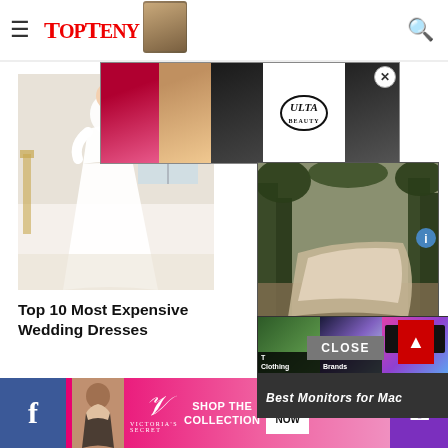TopTeny - website header with hamburger menu and search icon
[Figure (photo): Bride in white wedding dress standing in bright room]
Top 10 Most Expensive Wedding Dresses
[Figure (screenshot): Ulta Beauty advertisement popup with makeup images and SHOP NOW button]
[Figure (photo): Forest/nature scene with dress advertisement]
[Figure (screenshot): Video recommendations - Top Most Expensive Clothing Brands and Best Monitors for Mac]
[Figure (screenshot): Victoria's Secret advertisement banner - SHOP THE COLLECTION / SHOP NOW]
Facebook share button | Victoria's Secret ad | Phone button